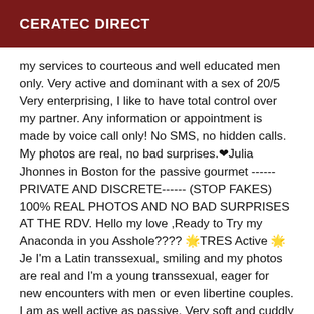CERATEC DIRECT
my services to courteous and well educated men only. Very active and dominant with a sex of 20/5 Very enterprising, I like to have total control over my partner. Any information or appointment is made by voice call only! No SMS, no hidden calls. My photos are real, no bad surprises.❤Julia Jhonnes in Boston for the passive gourmet ------ PRIVATE AND DISCRETE------ (STOP FAKES) 100% REAL PHOTOS AND NO BAD SURPRISES AT THE RDV. Hello my love ,Ready to Try my Anaconda in you Asshole???? 🌟TRES Active 🌟Je I'm a Latin transsexual, smiling and my photos are real and I'm a young transsexual, eager for new encounters with men or even libertine couples. I am as well active as passive. Very soft and cuddly for the beginners or severe and dominating for the followers of "special pleasures". In Boston🌟 a warm and elegant Brazilian Transgirl for a classy and elegant Rendezvous at the